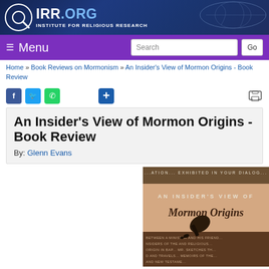IRR.ORG — INSTITUTE FOR RELIGIOUS RESEARCH
Menu | Search | Go
Home » Book Reviews on Mormonism » An Insider's View of Mormon Origins - Book Review
An Insider's View of Mormon Origins - Book Review
By: Glenn Evans
[Figure (photo): Book cover of 'An Insider's View of Mormon Origins' showing cursive title text on a tan/brown background with a quill or pen image]